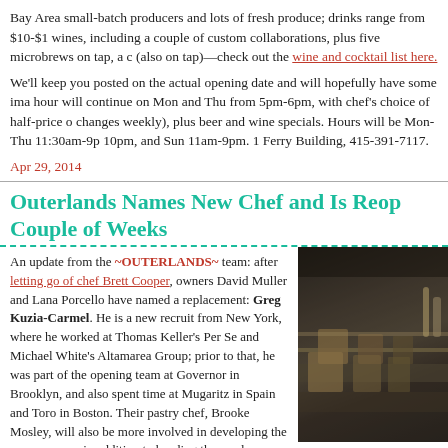Bay Area small-batch producers and lots of fresh produce; drinks range from $10-$1 wines, including a couple of custom collaborations, plus five microbrews on tap, a c (also on tap)—check out the wine and cocktail list here.
We'll keep you posted on the actual opening date and will hopefully have some ima hour will continue on Mon and Thu from 5pm-6pm, with chef's choice of half-price o changes weekly), plus beer and wine specials. Hours will be Mon-Thu 11:30am-9p 10pm, and Sun 11am-9pm. 1 Ferry Building, 415-391-7117.
Apr 29, 2014
Outerlands Names New Chef and Is Reop Couple of Weeks
An update from the ~OUTERLANDS~ team: after letting go of chef Brett Cooper, owners David Muller and Lana Porcello have named a replacement: Greg Kuzia-Carmel. He is a new recruit from New York, where he worked at Thomas Keller's Per Se and Michael White's Altamarea Group; prior to that, he was part of the opening team at Governor in Brooklyn, and also spent time at Mugaritz in Spain and Toro in Boston. Their pastry chef, Brooke Mosley, will also be more involved in developing the savory menu, in addition to heading the newly expanded bakery program.
[Figure (photo): Dark interior kitchen photo showing shelves with items, moody lighting]